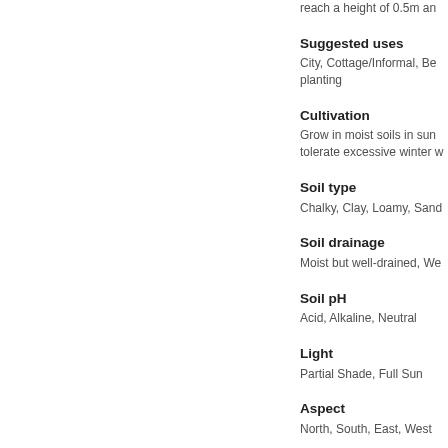reach a height of 0.5m and
Suggested uses
City, Cottage/Informal, Bedding/mass planting
Cultivation
Grow in moist soils in sun tolerate excessive winter w
Soil type
Chalky, Clay, Loamy, Sand
Soil drainage
Moist but well-drained, We
Soil pH
Acid, Alkaline, Neutral
Light
Partial Shade, Full Sun
Aspect
North, South, East, West